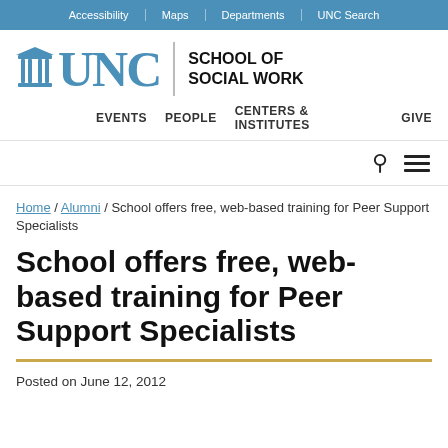Accessibility | Maps | Departments | UNC Search
[Figure (logo): UNC School of Social Work logo with building icon, UNC wordmark in blue, vertical divider, and bold text SCHOOL OF SOCIAL WORK]
EVENTS   PEOPLE   CENTERS & INSTITUTES   GIVE
Home / Alumni / School offers free, web-based training for Peer Support Specialists
School offers free, web-based training for Peer Support Specialists
Posted on June 12, 2012